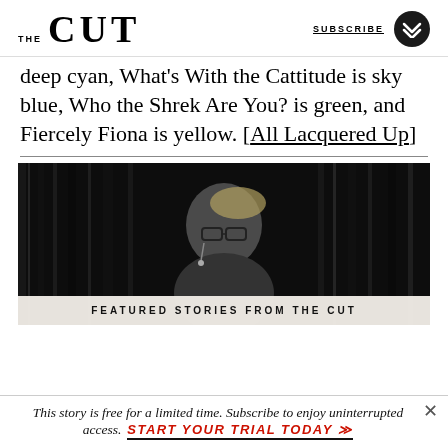THE CUT | SUBSCRIBE
deep cyan, What’s With the Cattitude is sky blue, Who the Shrek Are You? is green, and Fiercely Fiona is yellow. [All Lacquered Up]
[Figure (photo): Black and white portrait photograph of a woman with glasses and dangling earrings, looking to the side. Dark vertical streaks frame the image. Bottom overlay reads FEATURED STORIES FROM THE CUT.]
This story is free for a limited time. Subscribe to enjoy uninterrupted access. START YOUR TRIAL TODAY